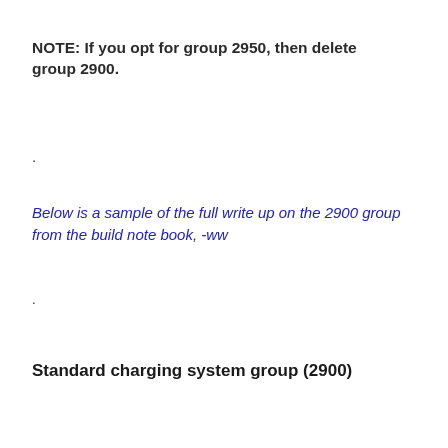NOTE: If you opt for group 2950, then delete group 2900.
.
Below is a sample of the full write up on the 2900 group from the build note book, -ww
.
Standard charging system group (2900)